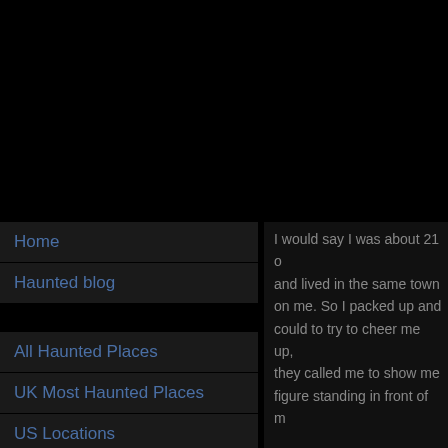Home
Haunted blog
All Haunted Places
UK Most Haunted Places
US Locations
Haunted Houses
Haunted Hospitals
I would say I was about 21 and lived in the same town on me. So I packed up and could to try to cheer me up, they called me to show me figure standing in front of m